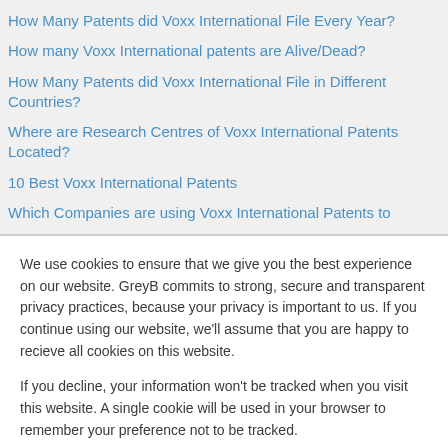How Many Patents did Voxx International File Every Year?
How many Voxx International patents are Alive/Dead?
How Many Patents did Voxx International File in Different Countries?
Where are Research Centres of Voxx International Patents Located?
10 Best Voxx International Patents
Which Companies are using Voxx International Patents to
We use cookies to ensure that we give you the best experience on our website. GreyB commits to strong, secure and transparent privacy practices, because your privacy is important to us. If you continue using our website, we'll assume that you are happy to recieve all cookies on this website.
If you decline, your information won't be tracked when you visit this website. A single cookie will be used in your browser to remember your preference not to be tracked.